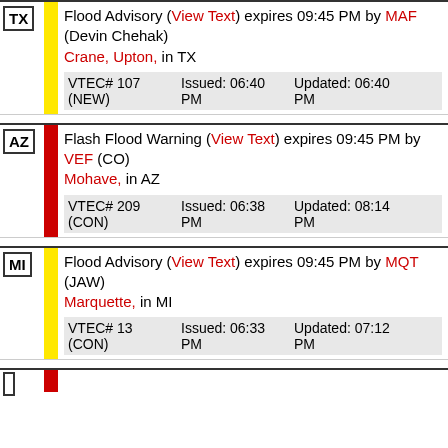TX | Flood Advisory (View Text) expires 09:45 PM by MAF (Devin Chehak) | Crane, Upton, in TX | VTEC# 107 (NEW) Issued: 06:40 PM Updated: 06:40 PM
AZ | Flash Flood Warning (View Text) expires 09:45 PM by VEF (CO) | Mohave, in AZ | VTEC# 209 (CON) Issued: 06:38 PM Updated: 08:14 PM
MI | Flood Advisory (View Text) expires 09:45 PM by MQT (JAW) | Marquette, in MI | VTEC# 13 (CON) Issued: 06:33 PM Updated: 07:12 PM